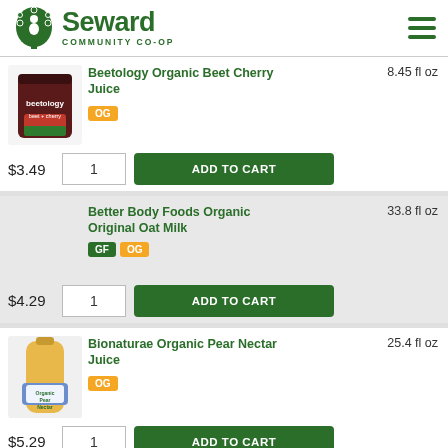Seward Community Co-op
Beetology Organic Beet Cherry Juice • 8.45 fl oz • OG • $3.49
Better Body Foods Organic Original Oat Milk • 33.8 fl oz • GF • OG • $4.29
Bionaturae Organic Pear Nectar Juice • 25.4 fl oz • OG • $5.29